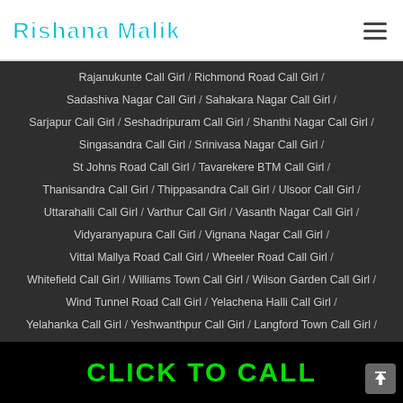Rishana Malik
Rajanukunte Call Girl / Richmond Road Call Girl / Sadashiva Nagar Call Girl / Sahakara Nagar Call Girl / Sarjapur Call Girl / Seshadripuram Call Girl / Shanthi Nagar Call Girl / Singasandra Call Girl / Srinivasa Nagar Call Girl / St Johns Road Call Girl / Tavarekere BTM Call Girl / Thanisandra Call Girl / Thippasandra Call Girl / Ulsoor Call Girl / Uttarahalli Call Girl / Varthur Call Girl / Vasanth Nagar Call Girl / Vidyaranyapura Call Girl / Vignana Nagar Call Girl / Vittal Mallya Road Call Girl / Wheeler Road Call Girl / Whitefield Call Girl / Williams Town Call Girl / Wilson Garden Call Girl / Wind Tunnel Road Call Girl / Yelachena Halli Call Girl / Yelahanka Call Girl / Yeshwanthpur Call Girl / Langford Town Call Girl / Richmond Town Call Girl / Kasavanahalli Call Girl / Richards Town Call Girl / Post House Road Call Girl /
CLICK TO CALL